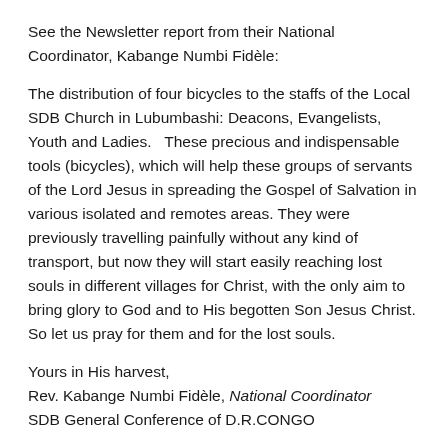See the Newsletter report from their National Coordinator, Kabange Numbi Fidèle:
The distribution of four bicycles to the staffs of the Local SDB Church in Lubumbashi: Deacons, Evangelists, Youth and Ladies.   These precious and indispensable tools (bicycles), which will help these groups of servants of the Lord Jesus in spreading the Gospel of Salvation in various isolated and remotes areas. They were previously travelling painfully without any kind of transport, but now they will start easily reaching lost souls in different villages for Christ, with the only aim to bring glory to God and to His begotten Son Jesus Christ. So let us pray for them and for the lost souls.
Yours in His harvest,
Rev. Kabange Numbi Fidèle, National Coordinator
SDB General Conference of D.R.CONGO